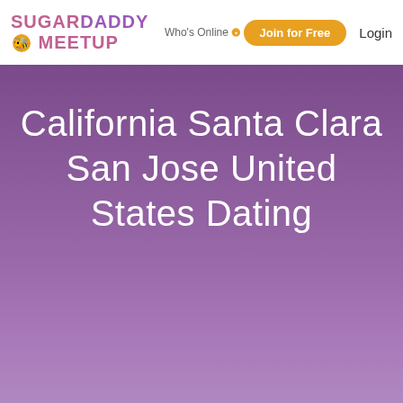SUGARDADDYMEETUP — Who's Online — Join for Free — Login
California Santa Clara San Jose United States Dating